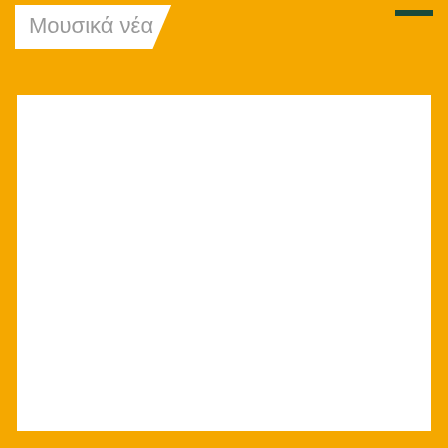Μουσικά νέα
[Figure (other): White blank content area with yellow/orange border frame]